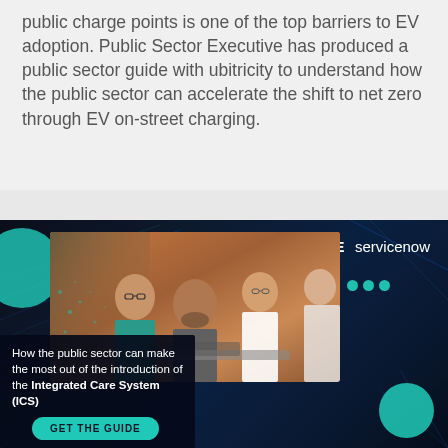public charge points is one of the top barriers to EV adoption. Public Sector Executive has produced a public sector guide with ubitricity to understand how the public sector can accelerate the shift to net zero through EV on-street charging.
[Figure (infographic): Dark-themed advertisement banner with PSE and servicenow logos, a photo of healthcare professionals in a meeting, teal decorative circles and dots, a text box reading 'How the public sector can make the most out of the introduction of the Integrated Care System (ICS)' and a 'GET THE GUIDE' button.]